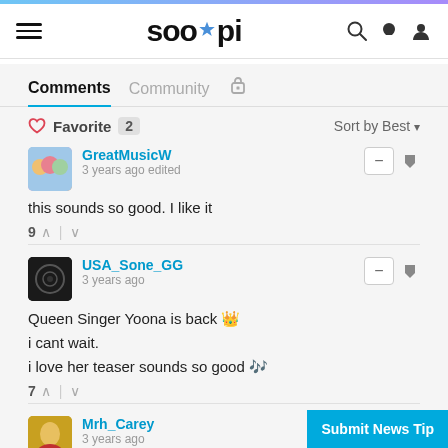soompi
Comments | Community
Favorite 2 | Sort by Best
GreatMusicW
3 years ago edited
this sounds so good. I like it
9 votes
USA_Sone_GG
3 years ago
Queen Singer Yoona is back 👑
i cant wait.
i love her teaser sounds so good 🎶
7 votes
Mrh_Carey
3 years ago